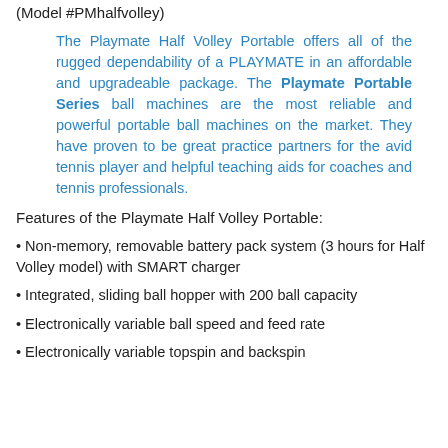(Model #PMhalfvolley)
The Playmate Half Volley Portable offers all of the rugged dependability of a PLAYMATE in an affordable and upgradeable package. The Playmate Portable Series ball machines are the most reliable and powerful portable ball machines on the market. They have proven to be great practice partners for the avid tennis player and helpful teaching aids for coaches and tennis professionals.
Features of the Playmate Half Volley Portable:
• Non-memory, removable battery pack system (3 hours for Half Volley model) with SMART charger
• Integrated, sliding ball hopper with 200 ball capacity
• Electronically variable ball speed and feed rate
• Electronically variable topspin and backspin